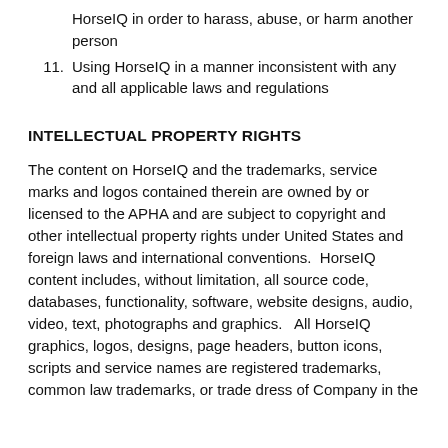HorseIQ in order to harass, abuse, or harm another person
11. Using HorseIQ in a manner inconsistent with any and all applicable laws and regulations
INTELLECTUAL PROPERTY RIGHTS
The content on HorseIQ and the trademarks, service marks and logos contained therein are owned by or licensed to the APHA and are subject to copyright and other intellectual property rights under United States and foreign laws and international conventions. HorseIQ content includes, without limitation, all source code, databases, functionality, software, website designs, audio, video, text, photographs and graphics. All HorseIQ graphics, logos, designs, page headers, button icons, scripts and service names are registered trademarks, common law trademarks, or trade dress of Company in the